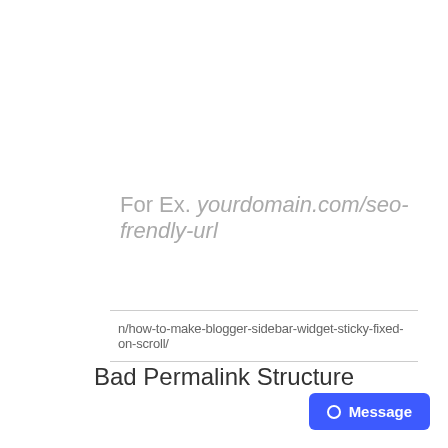For Ex. yourdomain.com/seo-frendly-url
n/how-to-make-blogger-sidebar-widget-sticky-fixed-on-scroll/
Bad Permalink Structure